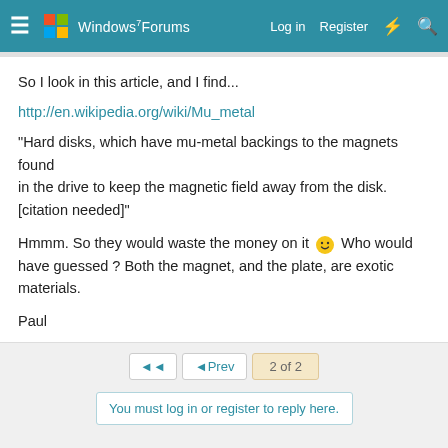Windows 7 Forums — Log in  Register
So I look in this article, and I find...
http://en.wikipedia.org/wiki/Mu_metal
"Hard disks, which have mu-metal backings to the magnets found
in the drive to keep the magnetic field away from the disk.
[citation needed]"
Hmmm. So they would waste the money on it 🙂 Who would have guessed ? Both the magnet, and the plate, are exotic materials.
Paul
◄◄  ◄Prev  2 of 2
You must log in or register to reply here.